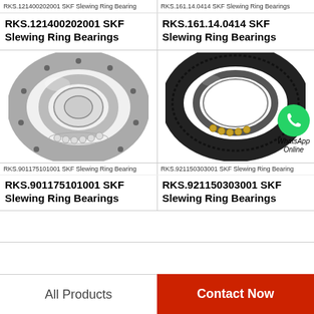RKS.121400202001 SKF Slewing Ring Bearing
RKS.161.14.0414 SKF Slewing Ring Bearings
RKS.121400202001 SKF Slewing Ring Bearings
RKS.161.14.0414 SKF Slewing Ring Bearings
[Figure (photo): SKF Slewing Ring Bearing RKS.121400202001 - grey metallic circular ring bearing with bolt holes]
[Figure (photo): SKF Slewing Ring Bearing RKS.161.14.0414 - black toothed circular ring bearing with WhatsApp Online overlay]
RKS.901175101001 SKF Slewing Ring Bearing
RKS.921150303001 SKF Slewing Ring Bearing
RKS.901175101001 SKF Slewing Ring Bearings
RKS.921150303001 SKF Slewing Ring Bearings
All Products
Contact Now